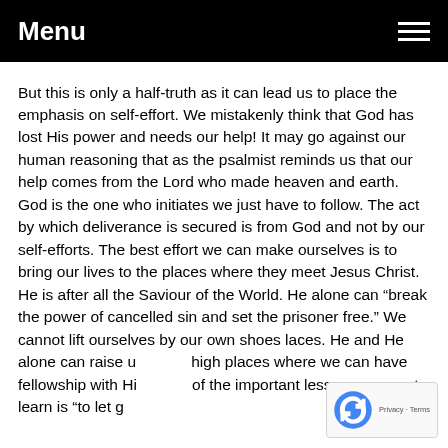Menu
But this is only a half-truth as it can lead us to place the emphasis on self-effort. We mistakenly think that God has lost His power and needs our help! It may go against our human reasoning that as the psalmist reminds us that our help comes from the Lord who made heaven and earth. God is the one who initiates we just have to follow. The act by which deliverance is secured is from God and not by our self-efforts. The best effort we can make ourselves is to bring our lives to the places where they meet Jesus Christ. He is after all the Saviour of the World. He alone can “break the power of cancelled sin and set the prisoner free.” We cannot lift ourselves by our own shoes laces. He and He alone can raise us to the high places where we can have fellowship with Him. One of the important lessons we must learn is “to let g